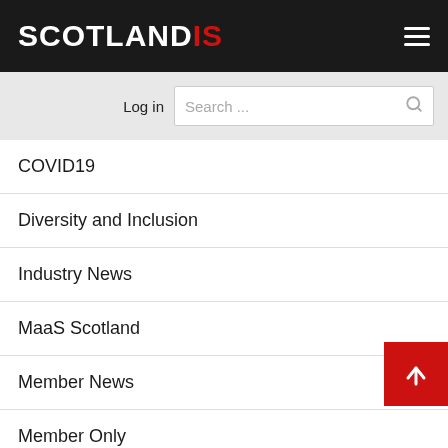SCOTLANDIS
Log in
Search ...
COVID19
Diversity and Inclusion
Industry News
MaaS Scotland
Member News
Member Only
North East Scotland
Opportunity